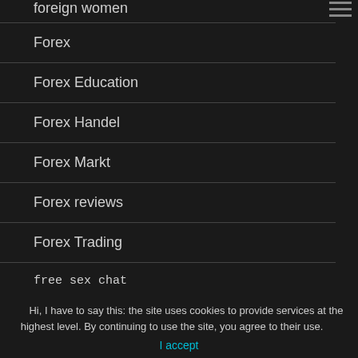foreign women
Forex
Forex Education
Forex Handel
Forex Markt
Forex reviews
Forex Trading
free sex chat
Hi, I have to say this: the site uses cookies to provide services at the highest level. By continuing to use the site, you agree to their use.
I accept